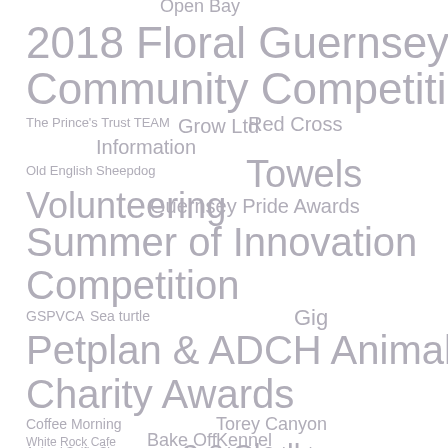[Figure (infographic): Word cloud featuring various tags/topics related to community events and charities in Guernsey, including: Open Bay, 2018 Floral Guernsey Community Competition, The Prince's Trust TEAM, Grow Ltd, Red Cross, Information, Old English Sheepdog, Towels, Volunteering, Guernsey Pride Awards, Summer of Innovation Competition, GSPVCA, Sea turtle, Gig, Petplan & ADCH Animal Charity Awards, Coffee Morning, Torey Canyon, Bake Off, Kennel, White Rock Cafe, 2.6 Challenge, Animal Selfie Show, AGM, Vale School]